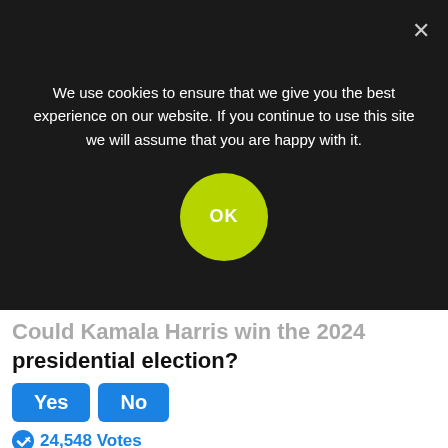We use cookies to ensure that we give you the best experience on our website. If you continue to use this site we will assume that you are happy with it.
OK
Could Kamala Harris win the 2024 presidential election?
Yes  No
24,548 Votes
Sponsored Ad
Many people choose to enter new relationships on a whim as this feels like progress forward in the short term. Unfortunately, these relationships are frequently unsatisfactory in the long term, eventually ending, and the cycle